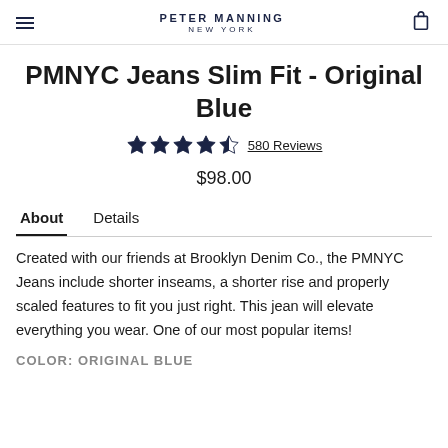PETER MANNING NEW YORK
PMNYC Jeans Slim Fit - Original Blue
★★★★☆ 580 Reviews
$98.00
About   Details
Created with our friends at Brooklyn Denim Co., the PMNYC Jeans include shorter inseams, a shorter rise and properly scaled features to fit you just right. This jean will elevate everything you wear. One of our most popular items!
COLOR: ORIGINAL BLUE